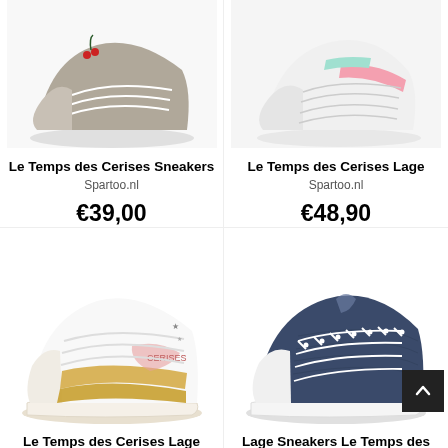[Figure (photo): Le Temps des Cerises grey sneaker shoe, partial view of top portion]
[Figure (photo): Le Temps des Cerises white sneaker with pink and mint accents, partial view]
Le Temps des Cerises Sneakers
Spartoo.nl
€39,00
Le Temps des Cerises Lage
Spartoo.nl
€48,90
[Figure (photo): Le Temps des Cerises white glitter sneaker with gold accents]
[Figure (photo): Le Temps des Cerises navy blue canvas sneaker with white laces]
Le Temps des Cerises Lage
Lage Sneakers Le Temps des